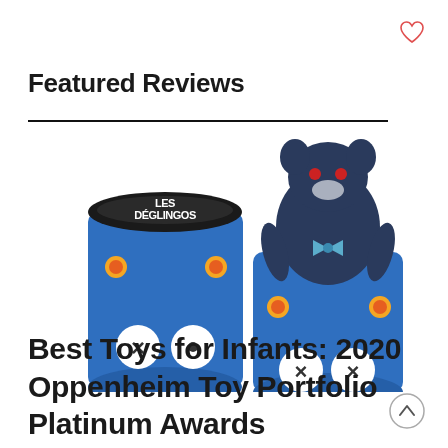[Figure (other): Heart/wishlist icon outline in red/coral color, top right corner]
Featured Reviews
[Figure (photo): Product photo showing two Les Deglingos blue cylindrical packaging tubes with a dark blue stuffed animal toy (bear/monster with red eyes and bow tie) peeking out of one of the tubes]
Best Toys for Infants: 2020 Oppenheim Toy Portfolio Platinum Awards
[Figure (other): Up arrow navigation button circle outline, bottom right corner]